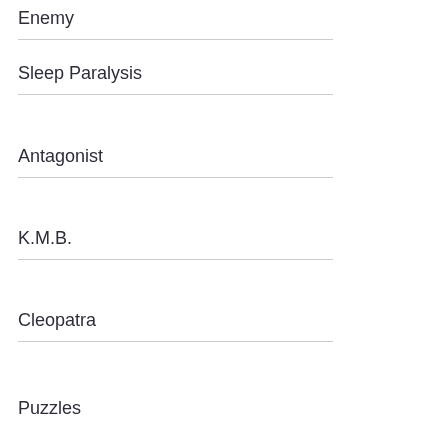Enemy
Sleep Paralysis
Antagonist
K.M.B.
Cleopatra
Puzzles